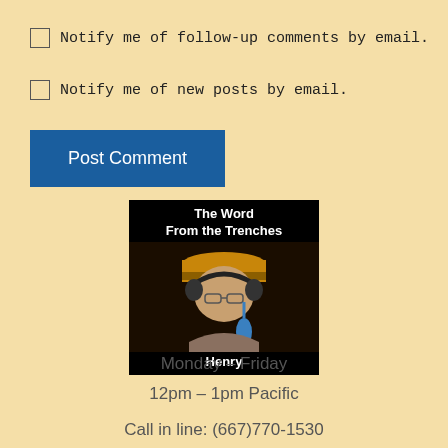Notify me of follow-up comments by email.
Notify me of new posts by email.
Post Comment
[Figure (photo): Radio show image titled 'The Word From the Trenches' with a person wearing headphones and a hat, captioned 'Henry']
Monday – Friday
12pm – 1pm Pacific
Call in line: (667)770-1530